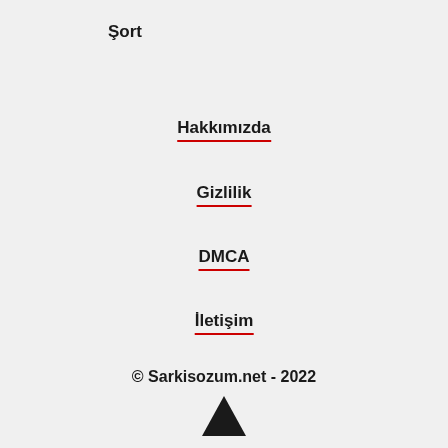Şort
Hakkımızda
Gizlilik
DMCA
İletişim
© Sarkisozum.net - 2022
[Figure (illustration): Black upward-pointing triangle arrow icon]